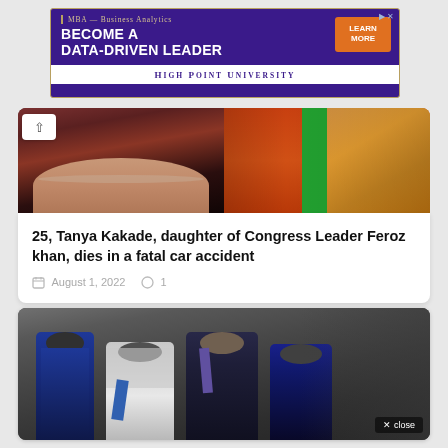[Figure (other): Advertisement banner for High Point University MBA Business Analytics program with purple background and orange button reading LEARN MORE]
[Figure (photo): Two photos side by side: left shows a young woman with red/brown hair and necklace; right shows colorful sashes in orange, green and gold colors]
25, Tanya Kakade, daughter of Congress Leader Feroz khan, dies in a fatal car accident
August 1, 2022  1
[Figure (photo): Photo of police officers escorting a person in white clothing, appears to be an arrest scene with multiple officers in uniform]